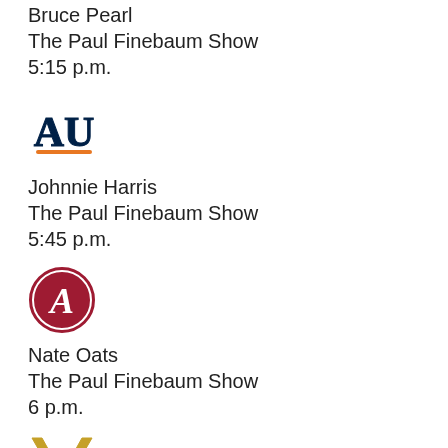Bruce Pearl
The Paul Finebaum Show
5:15 p.m.
[Figure (logo): Auburn University AU logo in navy and orange]
Johnnie Harris
The Paul Finebaum Show
5:45 p.m.
[Figure (logo): University of Alabama script A logo in crimson circle]
Nate Oats
The Paul Finebaum Show
6 p.m.
[Figure (logo): Vanderbilt University V logo in gold]
Jerry Stackhouse